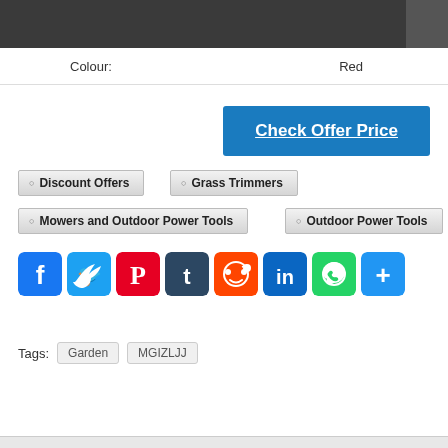| Colour: | Red |
| --- | --- |
Check Offer Price
Discount Offers
Grass Trimmers
Mowers and Outdoor Power Tools
Outdoor Power Tools
[Figure (other): Social sharing icons: Facebook, Twitter, Pinterest, Tumblr, Reddit, LinkedIn, WhatsApp, Share]
Tags: Garden MGIZLJJ